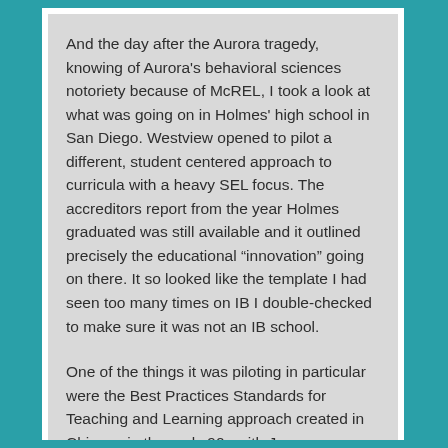And the day after the Aurora tragedy, knowing of Aurora's behavioral sciences notoriety because of McREL, I took a look at what was going on in Holmes' high school in San Diego. Westview opened to pilot a different, student centered approach to curricula with a heavy SEL focus. The accreditors report from the year Holmes graduated was still available and it outlined precisely the educational “innovation” going on there. It so looked like the template I had seen too many times on IB I double-checked to make sure it was not an IB school.
One of the things it was piloting in particular were the Best Practices Standards for Teaching and Learning approach created in Chicago in the early 90s with Joyce Foundation funding. So I